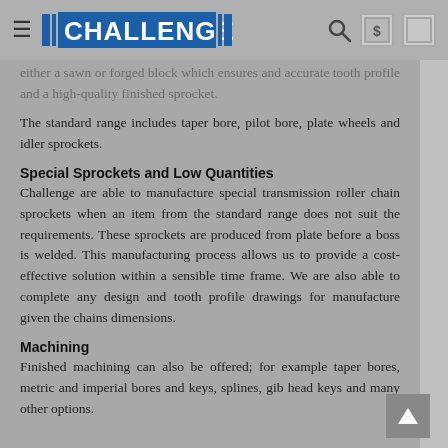CHALLENGE
either a sawn or forged block which ensures and accurate tooth profile and a high-quality finished sprocket.
The standard range includes taper bore, pilot bore, plate wheels and idler sprockets.
Special Sprockets and Low Quantities
Challenge are able to manufacture special transmission roller chain sprockets when an item from the standard range does not suit the requirements. These sprockets are produced from plate before a boss is welded. This manufacturing process allows us to provide a cost-effective solution within a sensible time frame. We are also able to complete any design and tooth profile drawings for manufacture given the chains dimensions.
Machining
Finished machining can also be offered; for example taper bores, metric and imperial bores and keys, splines, gib head keys and many other options.